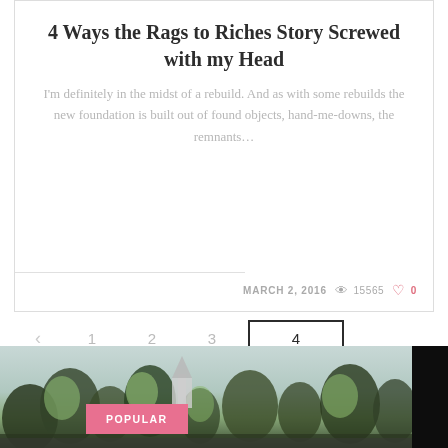4 Ways the Rags to Riches Story Screwed with my Head
I'm definitely in the midst of a rebuild. And as with some rebuilds the new foundation is built out of found objects, hand-me-downs, the remnants...
MARCH 2, 2016  👁 15565  ♡ 0
‹  1  2  3  4
[Figure (photo): Outdoor scene with trees and a church steeple, overcast sky. A pink 'POPULAR' badge overlaid on lower left.]